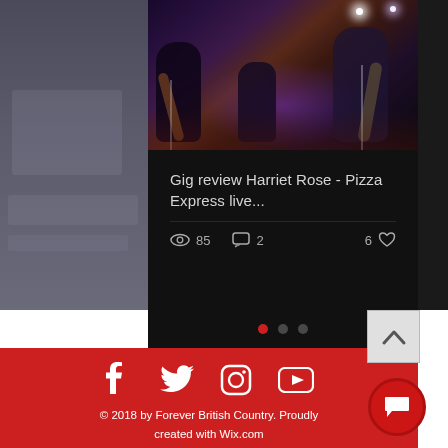[Figure (photo): Concert photo showing musicians performing on stage with purple/red stage lighting. Multiple band members visible including guitarists and drummer.]
Gig review Harriet Rose - Pizza Express live...
85 views · 2 comments · 6 likes
[Figure (infographic): Navigation dots: one red active dot followed by two grey inactive dots]
[Figure (infographic): Footer with social media icons: Facebook, Twitter, Instagram, YouTube on red background]
© 2018 by Forever British Country. Proudly created with Wix.com
foreverbritishcountry@gmail.com
[Figure (other): Back to top button (upward chevron) in light grey]
[Figure (other): Red circular chat/message bubble button]